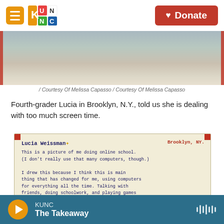KUNC | Donate
[Figure (photo): Partially visible image at top of page showing a mountain/landscape scene with red borders on left and right]
/ Courtesy Of Melissa Capasso  /  Courtesy Of Melissa Capasso
Fourth-grader Lucia in Brooklyn, N.Y., told us she is dealing with too much screen time.
[Figure (photo): Photo of a handwritten note by Lucia Weissman from Brooklyn, NY. The note reads: 'Lucia Weissman [star] Brooklyn, NY. This is a picture of me doing online school. (I don't really use that many computers, though.) I drew this because I think this is main thing that has changed for me, using computers for everything all the time. Talking with friends, doing schoolwork, and playing games are all now on a computer.']
KUNC – The Takeaway